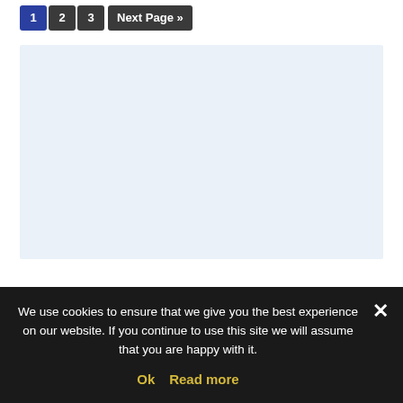1  2  3  Next Page »
[Figure (other): Light blue rectangular content placeholder area]
We use cookies to ensure that we give you the best experience on our website. If you continue to use this site we will assume that you are happy with it.
Ok  Read more